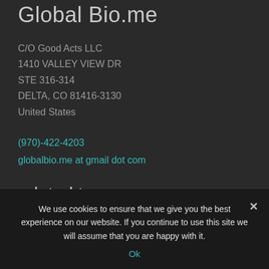Global Bio.me
C/O Good Acts LLC
1410 VALLEY VIEW DR
STE 316-314
DELTA, CO 81416-3130
United States
(970)-422-4203
globalbio.me at gmail dot com
related terms
[Figure (other): Three teal-outlined rounded rectangle tag buttons, partially visible at bottom of content area]
We use cookies to ensure that we give you the best experience on our website. If you continue to use this site we will assume that you are happy with it.
Ok